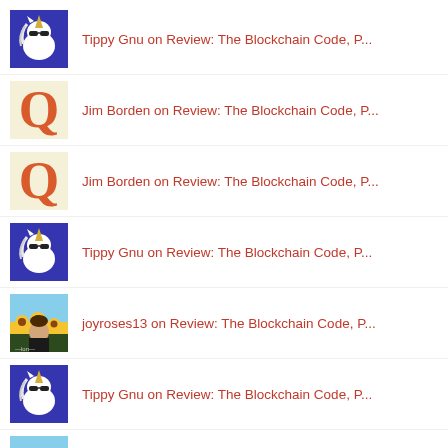Tippy Gnu on Review: The Blockchain Code, P...
Jim Borden on Review: The Blockchain Code, P...
Jim Borden on Review: The Blockchain Code, P...
Tippy Gnu on Review: The Blockchain Code, P...
joyroses13 on Review: The Blockchain Code, P...
Tippy Gnu on Review: The Blockchain Code, P...
joyroses13 on Review: The Blockchain Code, P...